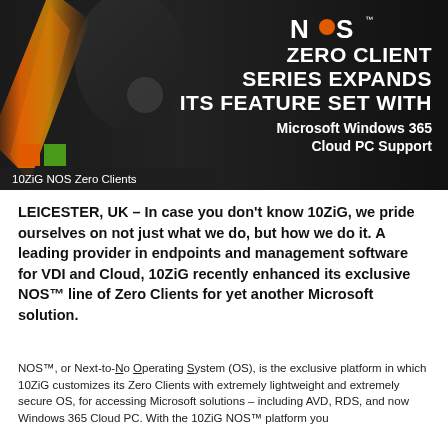[Figure (photo): Dark banner image showing NOS Zero Client hardware with orange light streak. Text overlay reads: NOS ZERO CLIENT SERIES EXPANDS ITS FEATURE SET WITH Microsoft Windows 365 Cloud PC Support. Orange and green color squares. Label: 10ZiG NOS Zero Clients.]
LEICESTER, UK – In case you don't know 10ZiG, we pride ourselves on not just what we do, but how we do it. A leading provider in endpoints and management software for VDI and Cloud, 10ZiG recently enhanced its exclusive NOS™ line of Zero Clients for yet another Microsoft solution.
NOS™, or Next-to-No Operating System (OS), is the exclusive platform in which 10ZiG customizes its Zero Clients with extremely lightweight and extremely secure OS, for accessing Microsoft solutions – including AVD, RDS, and now Windows 365 Cloud PC. With the 10ZiG NOS™ platform you